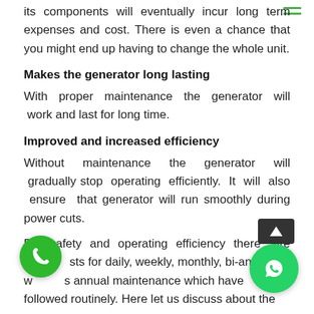its components will eventually incur long term expenses and cost. There is even a chance that you might end up having to change the whole unit.
Makes the generator long lasting
With proper maintenance the generator will work and last for long time.
Improved and increased efficiency
Without maintenance the generator will gradually stop operating efficiently. It will also ensure that generator will run smoothly during power cuts.
For safety and operating efficiency there are checklists for daily, weekly, monthly, bi-annually and annual maintenance which have to be followed routinely. Here let us discuss about the